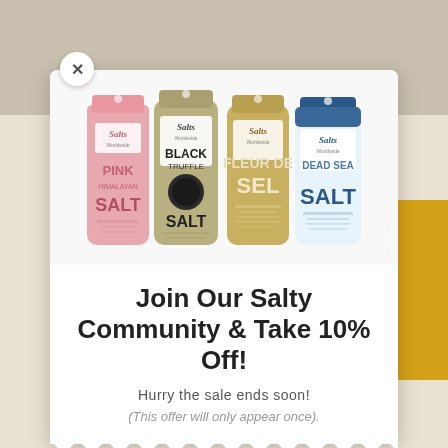[Figure (photo): Four salt product bags from Salts Worldwide: Pink Himalayan Salt (pink bag), Black Truffle Salt (olive/gold bag), Fleur de Sel (gold bag), Dead Sea Salt (blue/white bag)]
Join Our Salty Community & Take 10% Off!
Hurry the sale ends soon!
(This offer will only appear once).